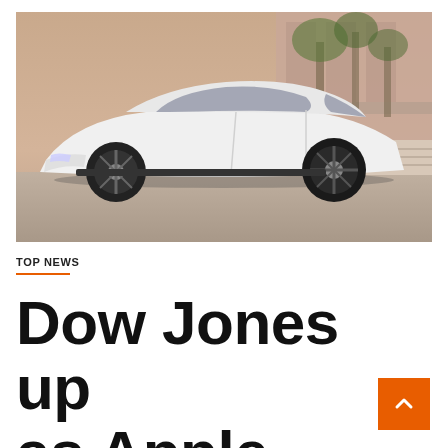[Figure (photo): White luxury electric sedan (Lucid Air) parked in front of a modern building with palm trees in the background. Warm desert tones.]
TOP NEWS
Dow Jones up as Apple stock Cl